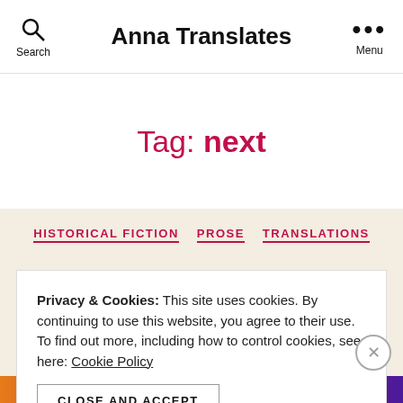Anna Translates
Tag: next
HISTORICAL FICTION  PROSE  TRANSLATIONS
The Next Village
Privacy & Cookies: This site uses cookies. By continuing to use this website, you agree to their use. To find out more, including how to control cookies, see here: Cookie Policy
CLOSE AND ACCEPT